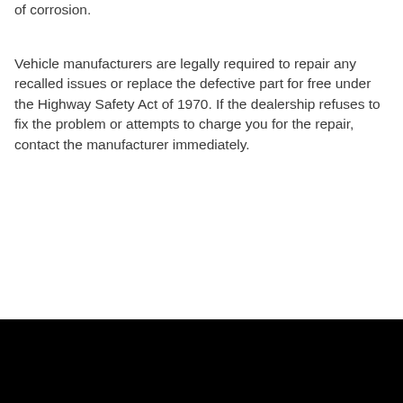agent or replace it with a new one, depending on the level of corrosion.
Vehicle manufacturers are legally required to repair any recalled issues or replace the defective part for free under the Highway Safety Act of 1970. If the dealership refuses to fix the problem or attempts to charge you for the repair, contact the manufacturer immediately.